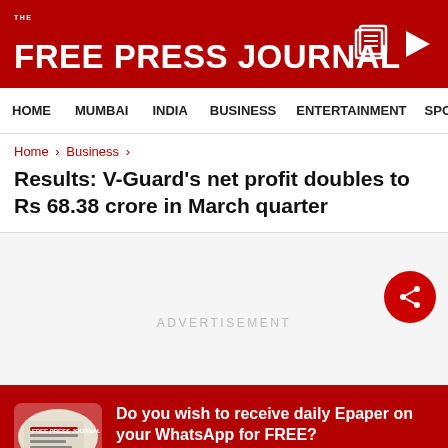THE FREE PRESS JOURNAL
HOME  MUMBAI  INDIA  BUSINESS  ENTERTAINMENT  SPO
Home › Business ›
Results: V-Guard's net profit doubles to Rs 68.38 crore in March quarter
[Figure (screenshot): Advertisement placeholder area with share button (red circle with share icon)]
Do you wish to receive daily Epaper on your WhatsApp for FREE?